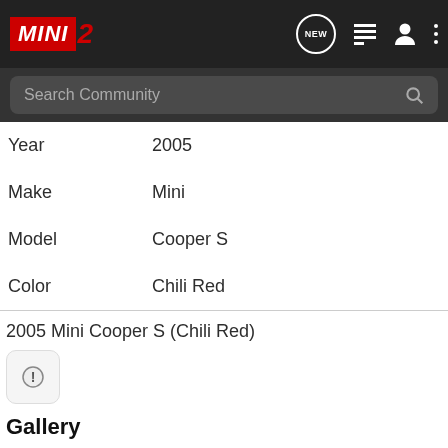[Figure (screenshot): MINI2 community website navigation bar with logo, search bar, and icons]
| Year | 2005 |
| Make | Mini |
| Model | Cooper S |
| Color | Chili Red |
2005 Mini Cooper S (Chili Red)
Gallery
[Figure (photo): Partial photo of a white Mini Cooper S viewed from above/rear, in a driveway]